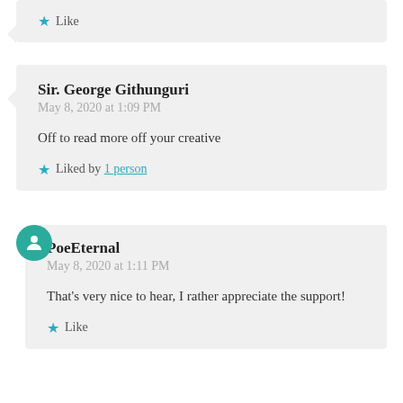Like
Sir. George Githunguri
May 8, 2020 at 1:09 PM
Off to read more off your creative
Liked by 1 person
PoeEternal
May 8, 2020 at 1:11 PM
That's very nice to hear, I rather appreciate the support!
Like